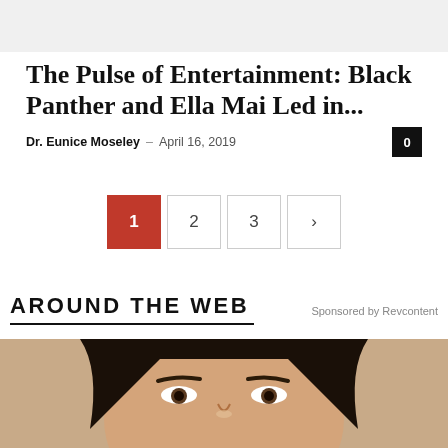[Figure (photo): Gray placeholder image area at top of page]
The Pulse of Entertainment: Black Panther and Ella Mai Led in...
Dr. Eunice Moseley – April 16, 2019
0 (comment badge)
Pagination: 1 (active), 2, 3, >
AROUND THE WEB
Sponsored by Revcontent
[Figure (photo): Close-up photo of a woman's face with dark hair, showing eyes and eyebrows against a warm background]